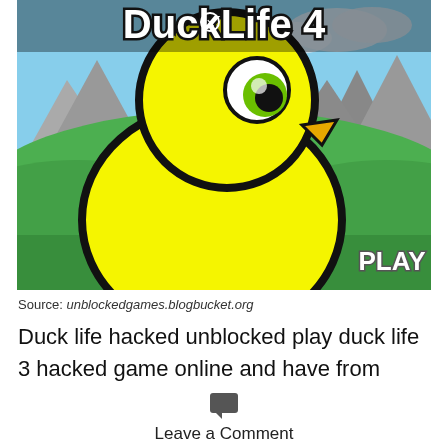[Figure (screenshot): Duck Life 4 game screenshot showing a large yellow cartoon duck/chick character with a round body, large eye with green iris, small orange beak, against a background with green hills, gray mountains, blue sky with clouds. The title 'Duck Life 4' appears at the top in bold black text with white outline. A 'PLAY' button is visible at the bottom right.]
Source: unblockedgames.blogbucket.org
Duck life hacked unblocked play duck life 3 hacked game online and have from
Leave a Comment